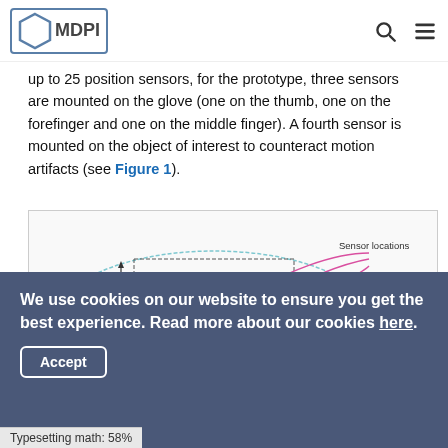MDPI
up to 25 position sensors, for the prototype, three sensors are mounted on the glove (one on the thumb, one on the forefinger and one on the middle finger). A fourth sensor is mounted on the object of interest to counteract motion artifacts (see Figure 1).
[Figure (engineering-diagram): Diagram showing sensor locations for a glove-based motion capture system. Labels include: Sensor locations, Sensor volume, Base station, Signal processing. Dimensions of 75 cm are indicated. Shows a gloved hand with sensors, connected to a base station and laptop.]
We use cookies on our website to ensure you get the best experience. Read more about our cookies here.
Accept
Typesetting math: 58%